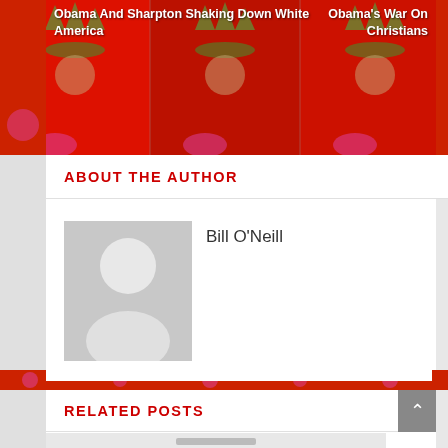[Figure (illustration): Colorful decorative background with Statue of Liberty imagery in red, orange, and green tones, tiled across the top strip]
Obama And Sharpton Shaking Down White America
Obama's War On Christians
ABOUT THE AUTHOR
[Figure (photo): Generic gray avatar/silhouette placeholder image for author photo]
Bill O'Neill
[Figure (illustration): Colorful decorative strip between sections]
RELATED POSTS
[Figure (photo): Light gray placeholder image for related posts thumbnail with dark bar at bottom]